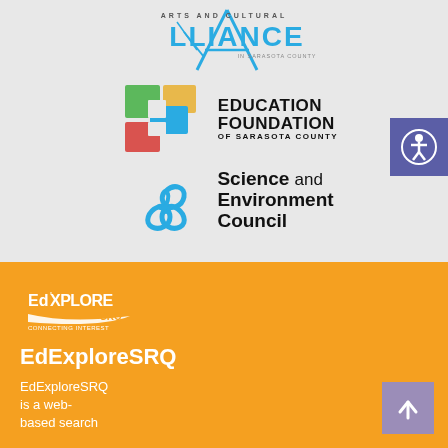[Figure (logo): Arts and Cultural Alliance of Sarasota County logo with stylized A and text]
[Figure (logo): Education Foundation of Sarasota County logo with colorful squares forming letter E]
[Figure (logo): Science and Environment Council logo with blue spiral/triskelion symbol]
[Figure (logo): Accessibility button with person icon in purple/indigo square]
[Figure (logo): EdExploreSRQ logo in white on orange background]
EdExploreSRQ
EdExploreSRQ is a web-based search
[Figure (illustration): Scroll to top arrow button in mauve/purple square]